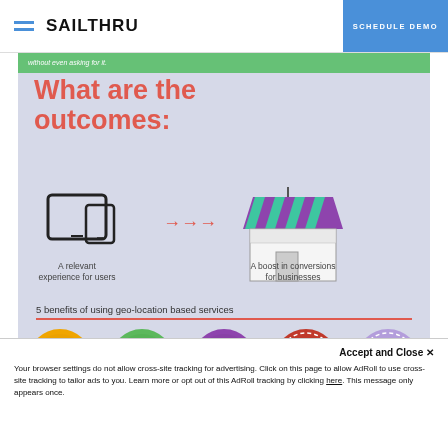SAILTHRU | SCHEDULE DEMO
[Figure (infographic): Sailthru infographic: 'What are the outcomes:' showing a tablet/phone icon with arrows pointing to a market stall icon, captioned 'A relevant experience for users' and 'A boost in conversions for businesses'. Below: '5 benefits of using geo-location based services' with 5 circular icons: Engage in-store shoppers, Localize deals, Realtime updates, Get to know your customers' preferences, Drive traffic to your site.]
Accept and Close ✕
Your browser settings do not allow cross-site tracking for advertising. Click on this page to allow AdRoll to use cross-site tracking to tailor ads to you. Learn more or opt out of this AdRoll tracking by clicking here. This message only appears once.